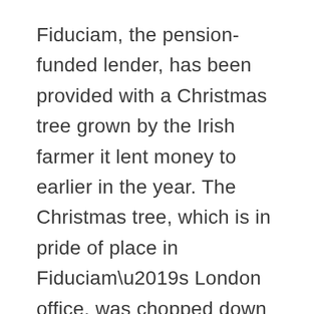Fiduciam, the pension-funded lender, has been provided with a Christmas tree grown by the Irish farmer it lent money to earlier in the year. The Christmas tree, which is in pride of place in Fiduciam’s London office, was chopped down and flown back by Fiduciam’s own staff all recorded on video.